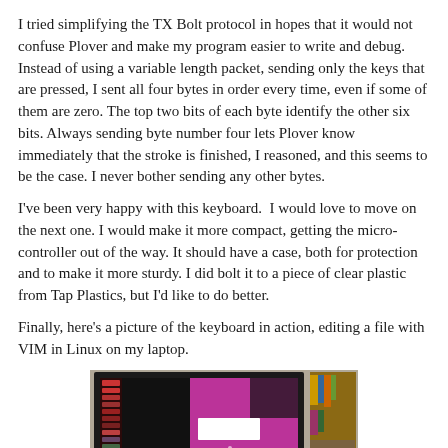I tried simplifying the TX Bolt protocol in hopes that it would not confuse Plover and make my program easier to write and debug. Instead of using a variable length packet, sending only the keys that are pressed, I sent all four bytes in order every time, even if some of them are zero. The top two bits of each byte identify the other six bits. Always sending byte number four lets Plover know immediately that the stroke is finished, I reasoned, and this seems to be the case. I never bother sending any other bytes.
I've been very happy with this keyboard.  I would love to move on the next one. I would make it more compact, getting the micro-controller out of the way. It should have a case, both for protection and to make it more sturdy. I did bolt it to a piece of clear plastic from Tap Plastics, but I'd like to do better.
Finally, here's a picture of the keyboard in action, editing a file with VIM in Linux on my laptop.
[Figure (photo): A laptop screen showing a Linux desktop with VIM open, displaying a dark terminal/editor window with a pink/magenta background visible on part of the screen, and a bookshelf visible in the background.]